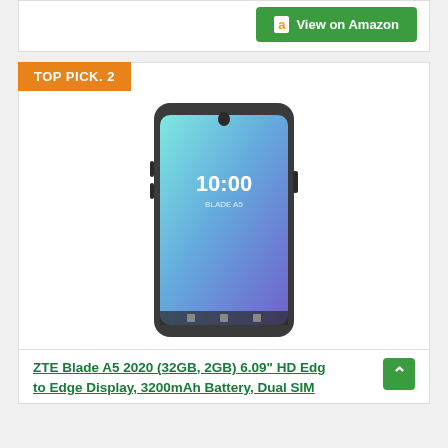[Figure (screenshot): Green Amazon 'View on Amazon' button with Amazon 'a' logo icon on white card background]
TOP PICK. 2
[Figure (photo): ZTE Blade A5 2020 smartphone showing front face with gradient teal-to-purple wallpaper and 10:00 clock on screen, dark frame with teardrop notch]
ZTE Blade A5 2020 (32GB, 2GB) 6.09" HD Edge to Edge Display, 3200mAh Battery, Dual SIM